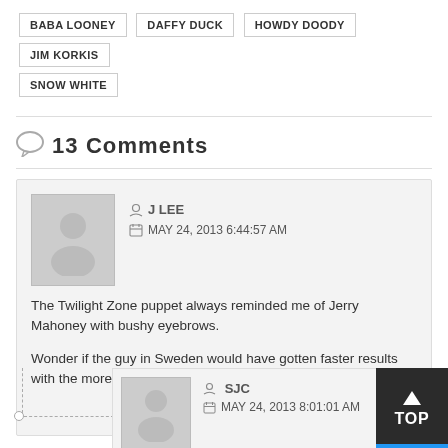BABA LOONEY
DAFFY DUCK
HOWDY DOODY
JIM KORKIS
SNOW WHITE
13 Comments
J LEE
MAY 24, 2013 6:44:57 AM

The Twilight Zone puppet always reminded me of Jerry Mahoney with bushy eyebrows.

Wonder if the guy in Sweden would have gotten faster results with the more sped-up Daffy voice Warners used prior to 1940?
SJC
MAY 24, 2013 8:01:01 AM